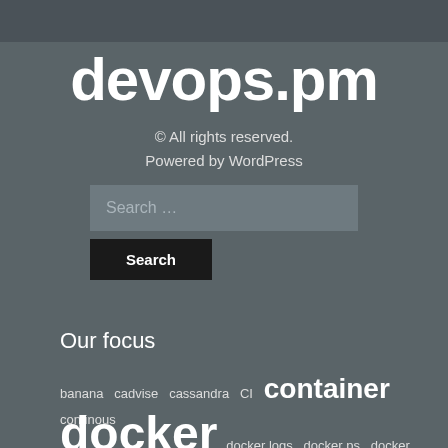[Figure (other): Top dark grey bar at the top of the page, part of website header]
devops.pm
© All rights reserved.
Powered by WordPress
Search ...
Search
Our focus
banana  cadvise  cassandra  CI  container  continous  deploy  devops  devopsdays  distelli.com  docker  docker logs  docker ps  docker run